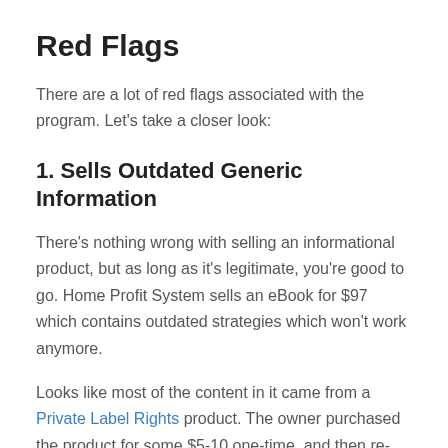Red Flags
There are a lot of red flags associated with the program. Let's take a closer look:
1. Sells Outdated Generic Information
There's nothing wrong with selling an informational product, but as long as it's legitimate, you're good to go. Home Profit System sells an eBook for $97 which contains outdated strategies which won't work anymore.
Looks like most of the content in it came from a Private Label Rights product. The owner purchased the product for some $5-10 one-time, and then re-